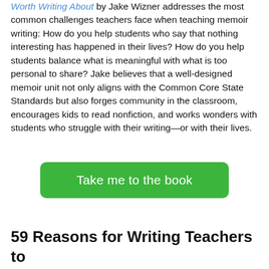Worth Writing About by Jake Wizner addresses the most common challenges teachers face when teaching memoir writing: How do you help students who say that nothing interesting has happened in their lives? How do you help students balance what is meaningful with what is too personal to share? Jake believes that a well-designed memoir unit not only aligns with the Common Core State Standards but also forges community in the classroom, encourages kids to read nonfiction, and works wonders with students who struggle with their writing—or with their lives.
[Figure (other): Green call-to-action button labeled 'Take me to the book']
59 Reasons for Writing Teachers to Practice Writing